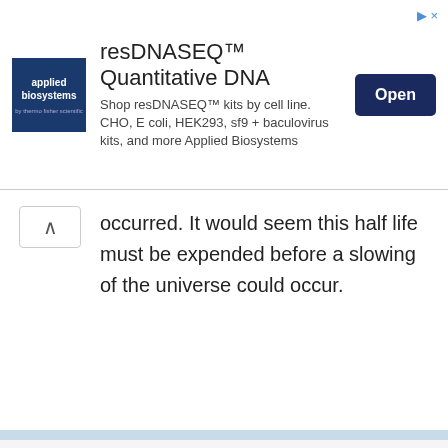[Figure (other): Advertisement banner: Applied Biosystems logo with resDNASEQ™ Quantitative DNA ad and Open button]
occurred. It would seem this half life must be expended before a slowing of the universe could occur.
[Figure (other): Green geometric avatar image for commenter Anita Dureich]
Anita Dureich | December 26, 2019 at 2:24 pm | Reply
it's gaining speed. at the furthermost edges of the universe....it's not de-